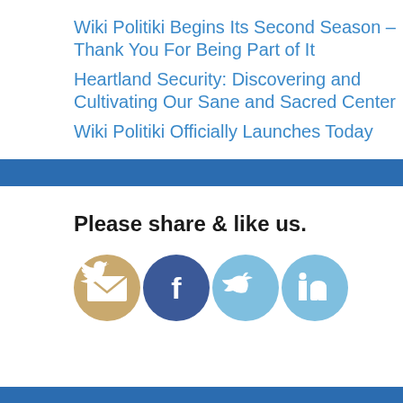Wiki Politiki Begins Its Second Season – Thank You For Being Part of It
Heartland Security: Discovering and Cultivating Our Sane and Sacred Center
Wiki Politiki Officially Launches Today
Please share & like us.
[Figure (infographic): Row of four social media share icons: email (golden/tan circle with envelope), Facebook (dark blue circle with f), Twitter (light blue circle with bird), LinkedIn (light blue circle with in)]